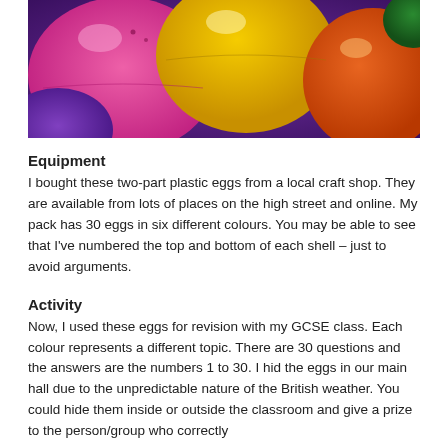[Figure (photo): Close-up photo of colourful plastic Easter eggs — pink, yellow, orange, purple — piled together]
Equipment
I bought these two-part plastic eggs from a local craft shop. They are available from lots of places on the high street and online. My pack has 30 eggs in six different colours. You may be able to see that I've numbered the top and bottom of each shell – just to avoid arguments.
Activity
Now, I used these eggs for revision with my GCSE class. Each colour represents a different topic. There are 30 questions and the answers are the numbers 1 to 30. I hid the eggs in our main hall due to the unpredictable nature of the British weather. You could hide them inside or outside the classroom and give a prize to the person/group who correctly